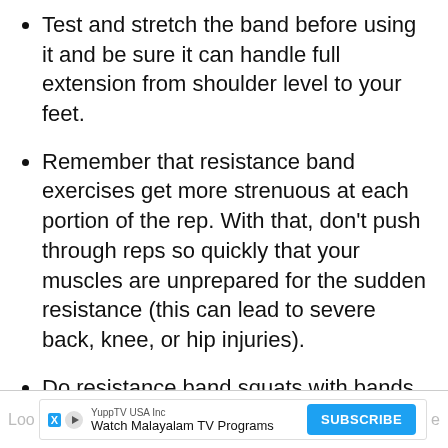Test and stretch the band before using it and be sure it can handle full extension from shoulder level to your feet.
Remember that resistance band exercises get more strenuous at each portion of the rep. With that, don’t push through reps so quickly that your muscles are unprepared for the sudden resistance (this can lead to severe back, knee, or hip injuries).
Do resistance band squats with bands that have handles, as a sudden snap in the band will be less likely to head toward your head or face.
[Figure (infographic): Advertisement banner for YuppTV USA Inc showing 'Watch Malayalam TV Programs' with a Subscribe button, partially visible text 'Look' and 'ho' on the sides.]